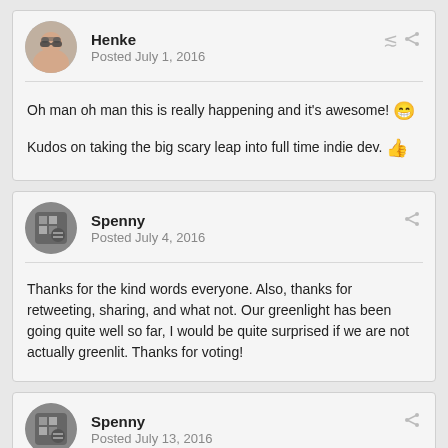Henke
Posted July 1, 2016
Oh man oh man this is really happening and it's awesome! 😁
Kudos on taking the big scary leap into full time indie dev. 👍
Spenny
Posted July 4, 2016
Thanks for the kind words everyone. Also, thanks for retweeting, sharing, and what not. Our greenlight has been going quite well so far, I would be quite surprised if we are not actually greenlit. Thanks for voting!
Spenny
Posted July 13, 2016